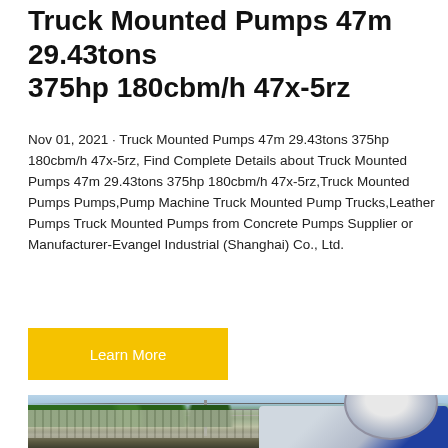Truck Mounted Pumps 47m 29.43tons 375hp 180cbm/h 47x-5rz
Nov 01, 2021 · Truck Mounted Pumps 47m 29.43tons 375hp 180cbm/h 47x-5rz, Find Complete Details about Truck Mounted Pumps 47m 29.43tons 375hp 180cbm/h 47x-5rz,Truck Mounted Pumps Pumps,Pump Machine Truck Mounted Pump Trucks,Leather Pumps Truck Mounted Pumps from Concrete Pumps Supplier or Manufacturer-Evangel Industrial (Shanghai) Co., Ltd.
[Figure (other): Button labeled Learn More with yellow background]
[Figure (photo): Photo of a truck-mounted concrete pump/mixer on a construction site, with trees, power lines, and a metal fence in the background.]